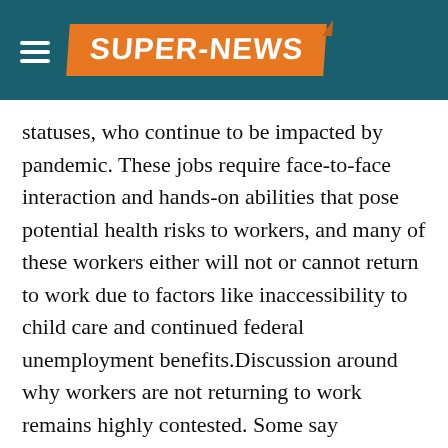SUPER-NEWS
statuses, who continue to be impacted by pandemic. These jobs require face-to-face interaction and hands-on abilities that pose potential health risks to workers, and many of these workers either will not or cannot return to work due to factors like inaccessibility to child care and continued federal unemployment benefits.Discussion around why workers are not returning to work remains highly contested. Some say unemployment benefits deter workers, others say benefits don't play a role. Some say increasing vaccination rates will encourage workers back, but others feel risks are still high among vulnerable populations.Zoom In IconArrows pointing outwardsUS Bureau of Labor StatisticsSome